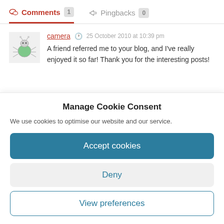Comments 1   Pingbacks 0
camera  25 October 2010 at 10:39 pm
A friend referred me to your blog, and I've really enjoyed it so far! Thank you for the interesting posts!
Manage Cookie Consent
We use cookies to optimise our website and our service.
Accept cookies
Deny
View preferences